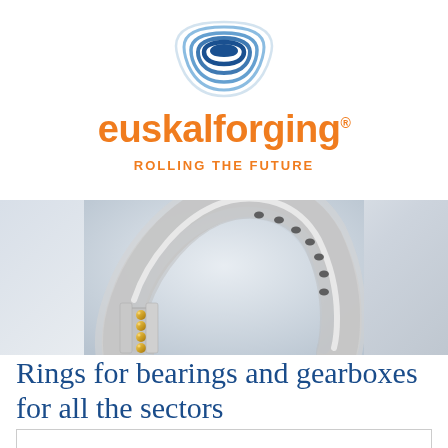[Figure (logo): Euskalforging logo: concentric arc shell icon in blue gradient above the brand name 'euskalforging' in orange with registered trademark symbol, and tagline 'ROLLING THE FUTURE' in orange bold text]
[Figure (photo): 3D render of a large slewing ring bearing / gear ring, arc-shaped, metallic silver with golden ball bearings visible in the raceway, shown on a light grey reflective surface]
Rings for bearings and gearboxes for all the sectors